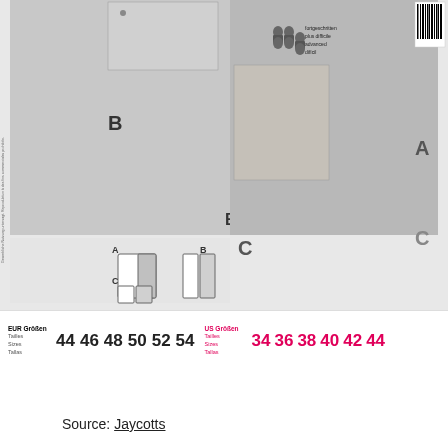[Figure (photo): Sewing pattern cover showing men's suit jacket (A), trousers (B), and shorts (C). Left side shows model wearing full suit with bag, line drawings of jacket and trousers. Right side shows model in blazer with shorts. Difficulty level icons (advanced/fortgeschritten/plus difficile/difícil) shown with thread spool icons. Labels A, B, C mark the garment variations.]
EUR Größen
Tailles
Sizes
Tallas
44 46 48 50 52 54
US Größen
Tailles
Sizes
Tallas
34 36 38 40 42 44
Source: Jaycotts